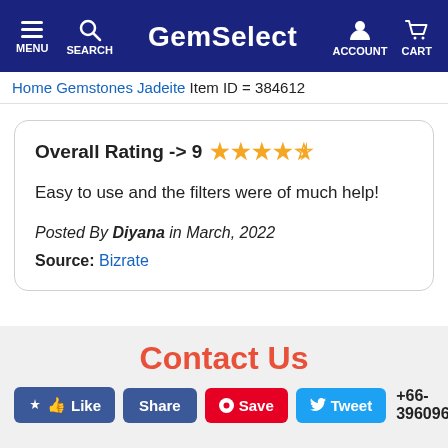GemSelect — MENU, SEARCH, ACCOUNT, CART
Home   Gemstones   Jadeite   Item ID = 384612
Overall Rating -> 9 ★★★★½

Easy to use and the filters were of much help!

Posted By Diyana in March, 2022

Source: Bizrate
Contact Us
+66-39609697